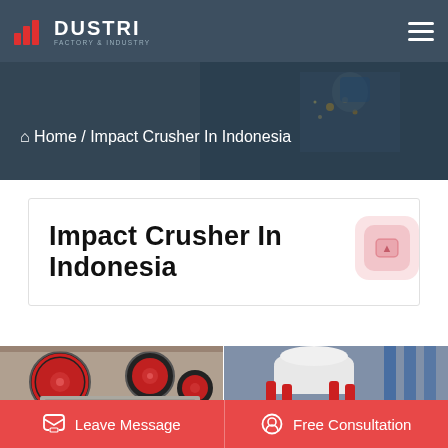DUSTRI — Factory & Industry
[Figure (screenshot): Hero banner showing industrial welding/factory scene with overlay, breadcrumb: Home / Impact Crusher In Indonesia]
Impact Crusher In Indonesia
[Figure (photo): Left: Red and black industrial jaw crusher with large flywheels in factory setting. Right: White and red cone crusher machine with blue framing.]
Leave Message   Free Consultation